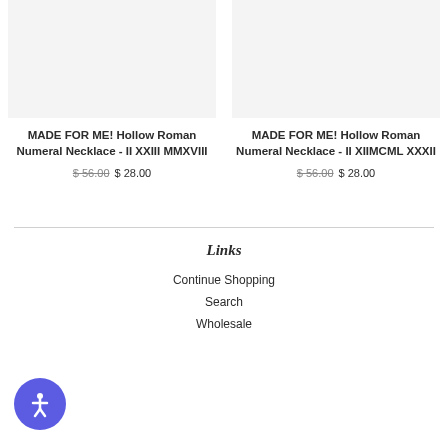[Figure (photo): Product image placeholder - light gray background, left product]
MADE FOR ME! Hollow Roman Numeral Necklace - II XXIII MMXVIII
$ 56.00 $ 28.00
[Figure (photo): Product image placeholder - light gray background, right product]
MADE FOR ME! Hollow Roman Numeral Necklace - II XIIMCML XXXII
$ 56.00 $ 28.00
Links
Continue Shopping
Search
Wholesale